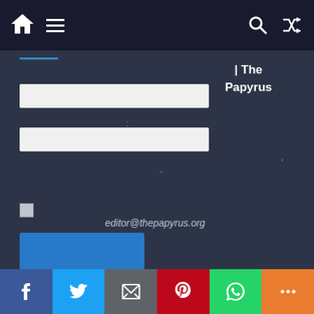| The Papyrus
[Figure (screenshot): Website screenshot showing a dark-themed navigation bar with home icon, hamburger menu, search icon and shuffle icon; a contact/login form with two white input fields; a checkbox; a blue submit button; right-side text showing '| The Papyrus', parenthetical text, and email 'editor@thepapyrus.org'; social sharing bar at bottom with Facebook, Twitter, Email, Pinterest, WhatsApp, and More icons.]
| The
Papyrus
:
(     )
'
-
editor@thepapyrus.org